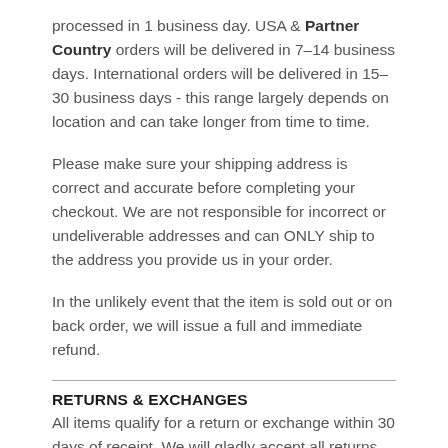processed in 1 business day. USA & Partner Country orders will be delivered in 7–14 business days. International orders will be delivered in 15–30 business days - this range largely depends on location and can take longer from time to time.
Please make sure your shipping address is correct and accurate before completing your checkout. We are not responsible for incorrect or undeliverable addresses and can ONLY ship to the address you provide us in your order.
In the unlikely event that the item is sold out or on back order, we will issue a full and immediate refund.
RETURNS & EXCHANGES
All items qualify for a return or exchange within 30 days of receipt. We will gladly accept all returns, no questions asked, within 30 days of the purchase date. Remaining responsible for return shipping information...